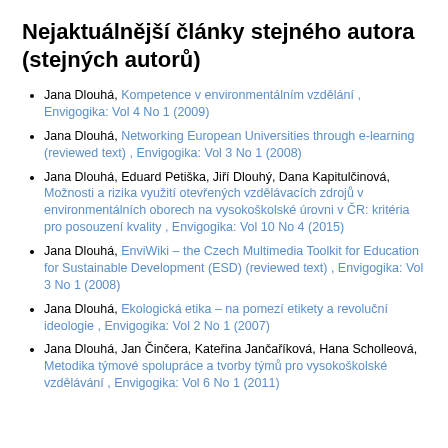Nejaktuálnější články stejného autora (stejných autorů)
Jana Dlouhá, Kompetence v environmentálním vzdělání , Envigogika: Vol 4 No 1 (2009)
Jana Dlouhá, Networking European Universities through e-learning (reviewed text) , Envigogika: Vol 3 No 1 (2008)
Jana Dlouhá, Eduard Petiška, Jiří Dlouhý, Dana Kapitulčinová, Možnosti a rizika využití otevřených vzdělávacích zdrojů v environmentálních oborech na vysokoškolské úrovni v ČR: kritéria pro posouzení kvality , Envigogika: Vol 10 No 4 (2015)
Jana Dlouhá, EnviWiki – the Czech Multimedia Toolkit for Education for Sustainable Development (ESD) (reviewed text) , Envigogika: Vol 3 No 1 (2008)
Jana Dlouhá, Ekologická etika – na pomezí etikety a revoluční ideologie , Envigogika: Vol 2 No 1 (2007)
Jana Dlouhá, Jan Činčera, Kateřina Jančaříková, Hana Scholleová, Metodika týmové spolupráce a tvorby týmů pro vysokoškolské vzdělávání , Envigogika: Vol 6 No 1 (2011)